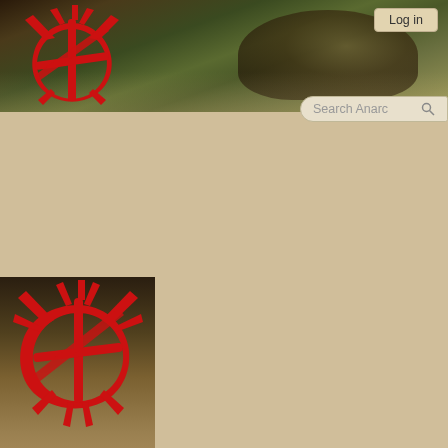[Figure (screenshot): Wiki page screenshot showing Categories special page with sidebar navigation]
Log in | Special page | Search Anarchy
Categories
The following categories exist on the wiki, and may or may not be unused. Also see wanted categories.
Categories
Display categories starting at:
Show
(first | last) View (previous 50 | next 50) (20 | 50 | 100 | 250 | 500)
Navigation
Wiki home
Anarchy home
Recent changes
New files
Random page
Contact us
Guides